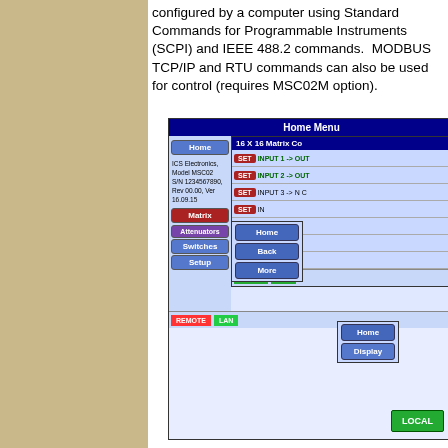configured by a computer using Standard Commands for Programmable Instruments (SCPI) and IEEE 488.2 commands.  MODBUS TCP/IP and RTU commands can also be used for control (requires MSC02M option).
[Figure (screenshot): Screenshot of ICS Electronics MSC02 device Home Menu interface showing navigation buttons (Home, Matrix, Attenuators, Switches, Setup), info area with model and serial number, overlaid popups showing 16X16 Matrix Controller, navigation popup with Home/Back/More buttons, setup fields (MAC Address, IP Address, TCP Server, Serial Settings, Board Type, Input Voltage), SET buttons with INPUT routing labels (INPUT 1->OUT, INPUT 2->OUT, INPUT 3->NC), REMOTE/LAN status bar, LOCAL/LAN bar, and Home/Display popup]
[Figure (screenshot): Small LOCAL button (green) visible at bottom right of page, partially cropped]